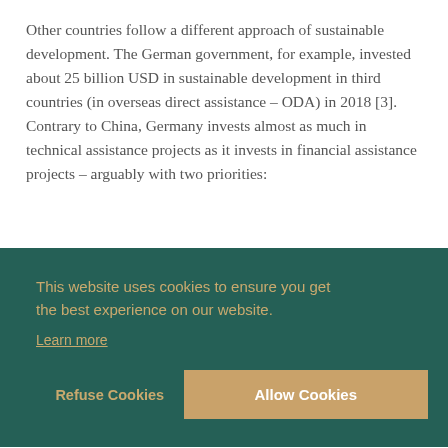Other countries follow a different approach of sustainable development. The German government, for example, invested about 25 billion USD in sustainable development in third countries (in overseas direct assistance – ODA) in 2018 [3]. Contrary to China, Germany invests almost as much in technical assistance projects as it invests in financial assistance projects – arguably with two priorities:
[partial text visible] n for e.g.
[partial text visible] imate
[Figure (screenshot): Cookie consent banner with dark teal background. Text reads: 'This website uses cookies to ensure you get the best experience on our website.' with a 'Learn more' link. Two buttons: 'Refuse Cookies' (text only) and 'Allow Cookies' (filled orange/tan button).]